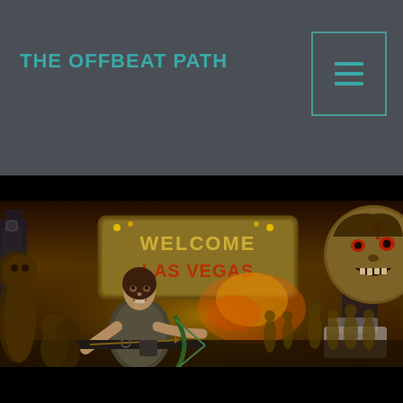THE OFFBEAT PATH
[Figure (illustration): Zombie apocalypse scene in Las Vegas. A woman holding a crossbow stands in the foreground surrounded by zombies. Behind her is the Welcome to Las Vegas sign in a post-apocalyptic setting with fire and destruction in the background. A large zombie face looms on the right side.]